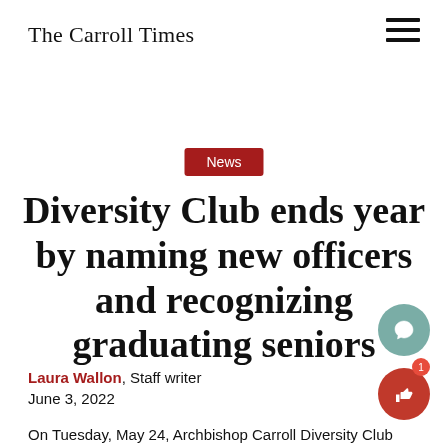The Carroll Times
News
Diversity Club ends year by naming new officers and recognizing graduating seniors
Laura Wallon, Staff writer
June 3, 2022
On Tuesday, May 24, Archbishop Carroll Diversity Club